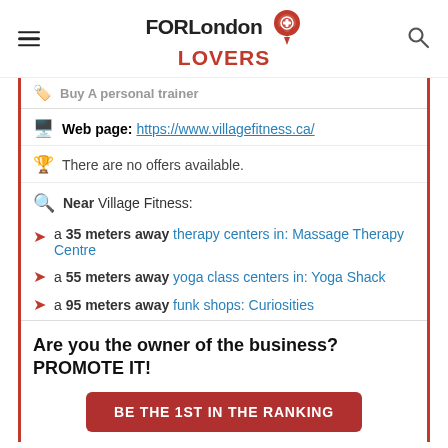FORLondon LOVERS
Buy A personal trainer
Web page: https://www.villagefitness.ca/
There are no offers available.
Near Village Fitness:
a 35 meters away therapy centers in: Massage Therapy Centre
a 55 meters away yoga class centers in: Yoga Shack
a 95 meters away funk shops: Curiosities
Are you the owner of the business? PROMOTE IT!
BE THE 1ST IN THE RANKING